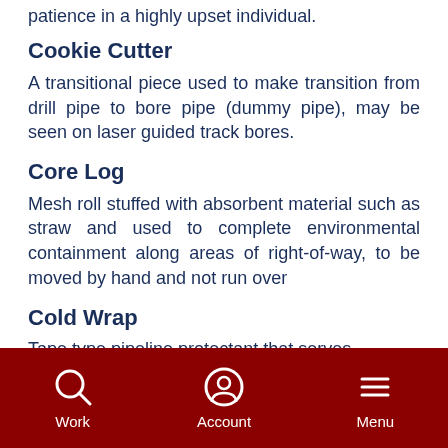patience in a highly upset individual.
Cookie Cutter
A transitional piece used to make transition from drill pipe to bore pipe (dummy pipe), may be seen on laser guided track bores.
Core Log
Mesh roll stuffed with absorbent material such as straw and used to complete environmental containment along areas of right-of-way, to be moved by hand and not run over
Cold Wrap
Tape type pipeline protectant that serves
Work  Account  Menu